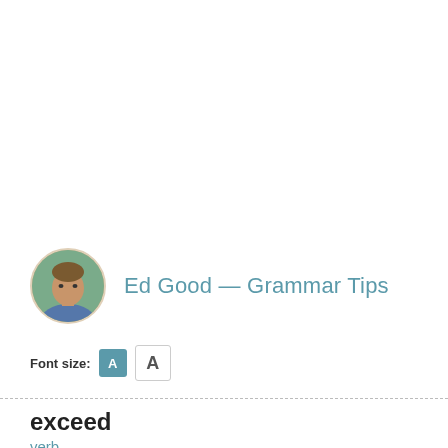[Figure (photo): Circular avatar photo of Ed Good, a man in a blue shirt outdoors]
Ed Good  —  Grammar Tips
Font size: A A
exceed
verb